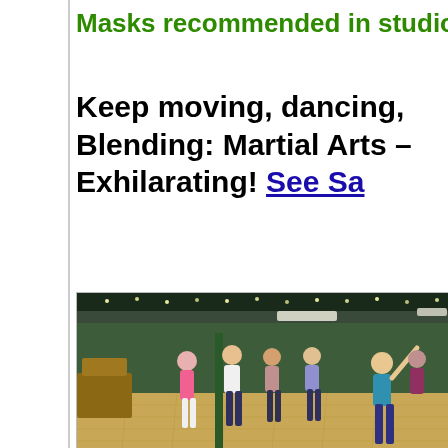Masks recommended in studio,
Keep moving, dancing, Blending: Martial Arts – Exhilarating! See Sa...
[Figure (photo): Group of women dancing and exercising in a studio with wood floors, green walls, and decorative lights on the ceiling.]